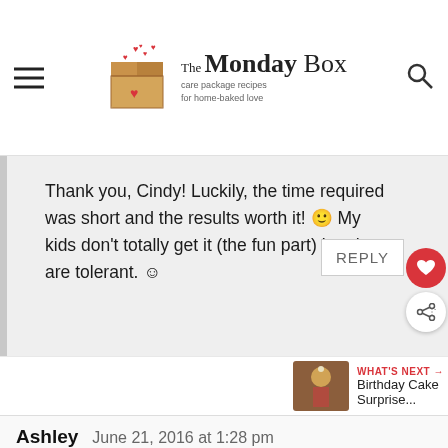[Figure (logo): The Monday Box logo with box graphic, tagline: care package recipes for home-baked love]
Thank you, Cindy! Luckily, the time required was short and the results worth it! 🙂 My kids don't totally get it (the fun part) but they are tolerant. ☺
[Figure (screenshot): WHAT'S NEXT arrow, Birthday Cake Surprise... with food photo thumbnail]
Ashley    June 21, 2016 at 1:28 pm
[Figure (screenshot): Advertisement bar: Learn the signs to prevent school shootings. Sandy Hook Promise logo]